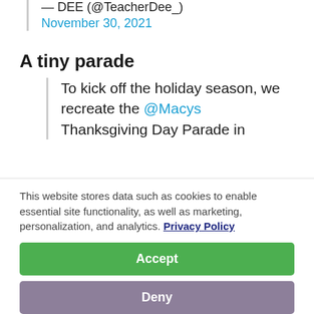— DEE (@TeacherDee_)
November 30, 2021
A tiny parade
To kick off the holiday season, we recreate the @Macys Thanksgiving Day Parade in
This website stores data such as cookies to enable essential site functionality, as well as marketing, personalization, and analytics. Privacy Policy
Accept
Deny